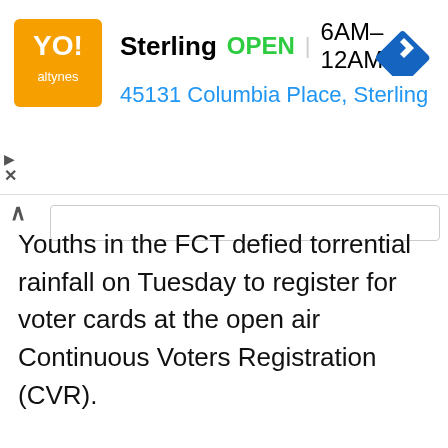[Figure (screenshot): Ad banner for a store named 'Sterling' showing it is OPEN 6AM-12AM at 45131 Columbia Place, Sterling, with an orange logo and blue navigation arrow icon]
Youths in the FCT defied torrential rainfall on Tuesday to register for voter cards at the open air Continuous Voters Registration (CVR).